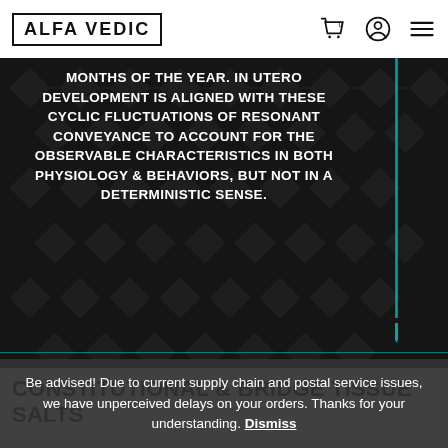ALFA VEDIC
MONTHS OF THE YEAR. IN UTERO DEVELOPMENT IS ALIGNED WITH THESE CYCLIC FLUCTUATIONS OF RESONANT CONVEYANCE TO ACCOUNT FOR THE OBSERVABLE CHARACTERISTICS IN BOTH PHYSIOLOGY & BEHAVIORS, BUT NOT IN A DETERMINISTIC SENSE.
CONSTITUTIONAL & BRIDGE TISSUE SALTS
Be advised! Due to current supply chain and postal service issues, we have unperceived delays on your orders. Thanks for your understanding. Dismiss